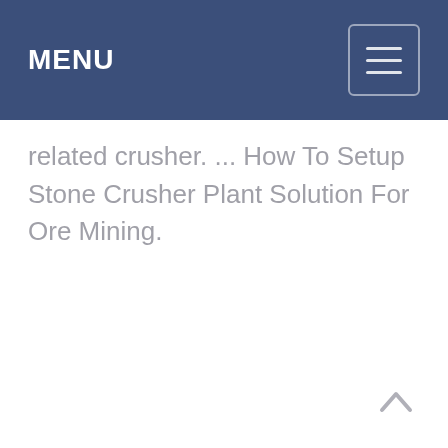MENU
related crusher. ... How To Setup Stone Crusher Plant Solution For Ore Mining.